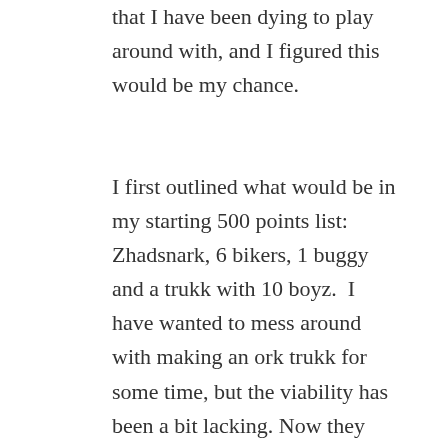that I have been dying to play around with, and I figured this would be my chance.
I first outlined what would be in my starting 500 points list: Zhadsnark, 6 bikers, 1 buggy and a trukk with 10 boyz.  I have wanted to mess around with making an ork trukk for some time, but the viability has been a bit lacking. Now they seem to be worth putting on  a table, so my ideas are getting to see light. The ork trukk kit is great, mind you; It really gives a nice ramshackle look. I had something different in mind, however, and looked toward the Taurox model for the answers.  I